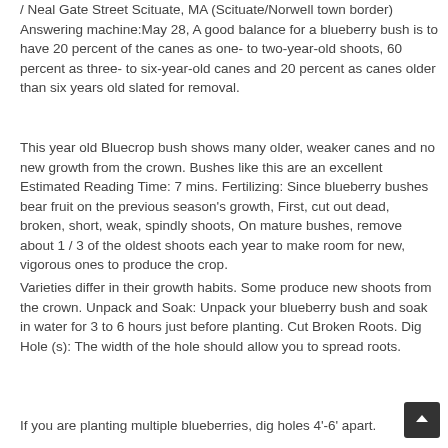/ Neal Gate Street Scituate, MA (Scituate/Norwell town border) Answering machine:May 28, A good balance for a blueberry bush is to have 20 percent of the canes as one- to two-year-old shoots, 60 percent as three- to six-year-old canes and 20 percent as canes older than six years old slated for removal.
This year old Bluecrop bush shows many older, weaker canes and no new growth from the crown. Bushes like this are an excellent Estimated Reading Time: 7 mins. Fertilizing: Since blueberry bushes bear fruit on the previous season's growth, First, cut out dead, broken, short, weak, spindly shoots, On mature bushes, remove about 1 / 3 of the oldest shoots each year to make room for new, vigorous ones to produce the crop.
Varieties differ in their growth habits. Some produce new shoots from the crown. Unpack and Soak: Unpack your blueberry bush and soak in water for 3 to 6 hours just before planting. Cut Broken Roots. Dig Hole (s): The width of the hole should allow you to spread roots.
If you are planting multiple blueberries, dig holes 4'-6' apart.